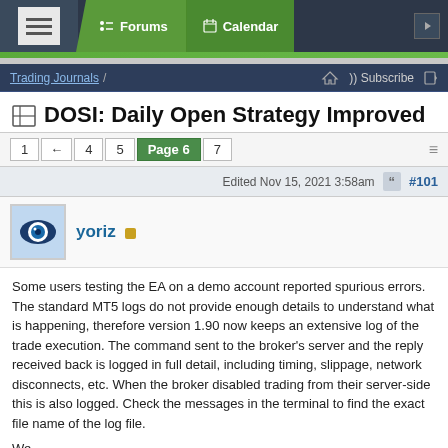Forums | Calendar
DOSI: Daily Open Strategy Improved
1 ← 4 5 Page 6 7
Edited Nov 15, 2021 3:58am  #101
yoriz
Some users testing the EA on a demo account reported spurious errors. The standard MT5 logs do not provide enough details to understand what is happening, therefore version 1.90 now keeps an extensive log of the trade execution. The command sent to the broker's server and the reply received back is logged in full detail, including timing, slippage, network disconnects, etc. When the broker disabled trading from their server-side this is also logged. Check the messages in the terminal to find the exact file name of the log file.